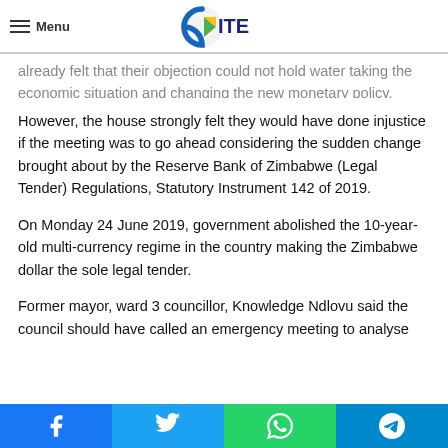Menu [CITE logo]
already felt that their objection could not hold water taking the economic situation and changing the new monetary policy.
However, the house strongly felt they would have done injustice if the meeting was to go ahead considering the sudden change brought about by the Reserve Bank of Zimbabwe (Legal Tender) Regulations, Statutory Instrument 142 of 2019.
On Monday 24 June 2019, government abolished the 10-year-old multi-currency regime in the country making the Zimbabwe dollar the sole legal tender.
Former mayor, ward 3 councillor, Knowledge Ndlovu said the council should have called an emergency meeting to analyse
Facebook Twitter WhatsApp Telegram share buttons